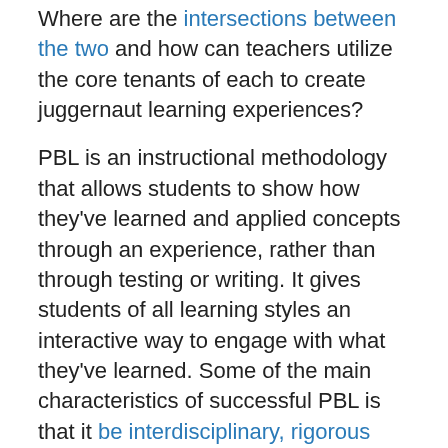Where are the intersections between the two and how can teachers utilize the core tenants of each to create juggernaut learning experiences?
PBL is an instructional methodology that allows students to show how they've learned and applied concepts through an experience, rather than through testing or writing. It gives students of all learning styles an interactive way to engage with what they've learned. Some of the main characteristics of successful PBL is that it be interdisciplinary, rigorous and student-centered. The role of the teacher shifts to that of a facilitator as students work independently through the process of inquiry, solution building and product construction. Students go beyond simple recall or recognition and extrapolate their learning to be applied in new contexts. When engaging with real-world problem-solving, students inevitably draw upon